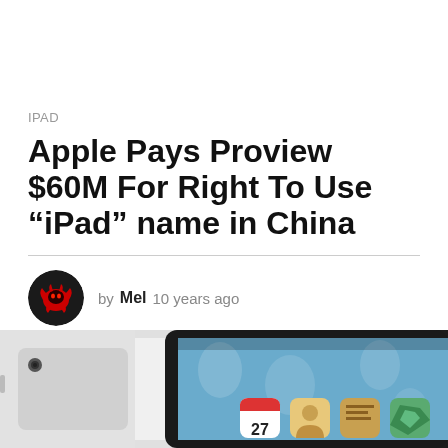IPAD
Apple Pays Proview $60M For Right To Use “iPad” name in China
by Mel 10 years ago
1
[Figure (photo): Photo showing two iPads, one from the back (white/silver) and one from the front showing the iOS home screen with app icons and calendar showing date 27]